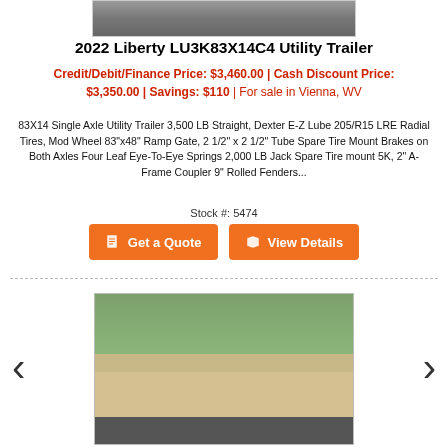[Figure (photo): Top partial photo of trailer or gravel area, cropped at top of page]
2022 Liberty LU3K83X14C4 Utility Trailer
Credit/Debit/Finance Price: $3,460.00 | Cash Discount Price: $3,350.00 | Savings: $110 | For sale in Vienna, WV
83X14 Single Axle Utility Trailer 3,500 LB Straight, Dexter E-Z Lube 205/R15 LRE Radial Tires, Mod Wheel 83"x48" Ramp Gate, 2 1/2" x 2 1/2" Tube Spare Tire Mount Brakes on Both Axles Four Leaf Eye-To-Eye Springs 2,000 LB Jack Spare Tire mount 5K, 2" A-Frame Coupler 9" Rolled Fenders...
Stock #: 5474
Get a Quote
View Details
[Figure (photo): Photo of a flatbed utility trailer with wooden deck, parked on gravel with green lawn and trees in background]